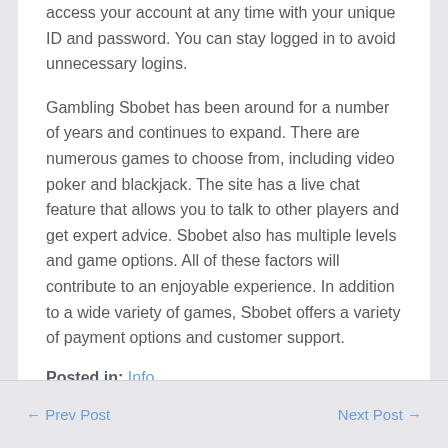access your account at any time with your unique ID and password. You can stay logged in to avoid unnecessary logins.
Gambling Sbobet has been around for a number of years and continues to expand. There are numerous games to choose from, including video poker and blackjack. The site has a live chat feature that allows you to talk to other players and get expert advice. Sbobet also has multiple levels and game options. All of these factors will contribute to an enjoyable experience. In addition to a wide variety of games, Sbobet offers a variety of payment options and customer support.
Posted in: Info
← Prev Post   Next Post →